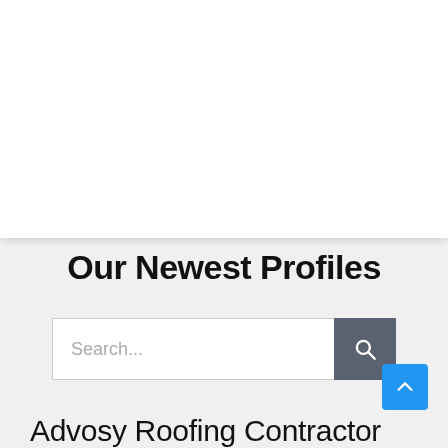Our Newest Profiles
Search...
Advosy Roofing Contractor